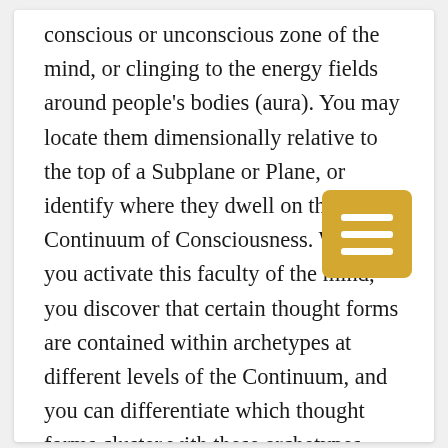conscious or unconscious zone of the mind, or clinging to the energy fields around people's bodies (aura). You may locate them dimensionally relative to the top of a Subplane or Plane, or identify where they dwell on the Great Continuum of Consciousness. When you activate this faculty of the mind, you discover that certain thought forms are contained within archetypes at different levels of the Continuum, and you can differentiate which thought forms cluster with these archetypes.
[For example, you discover that different types of thought forms arise